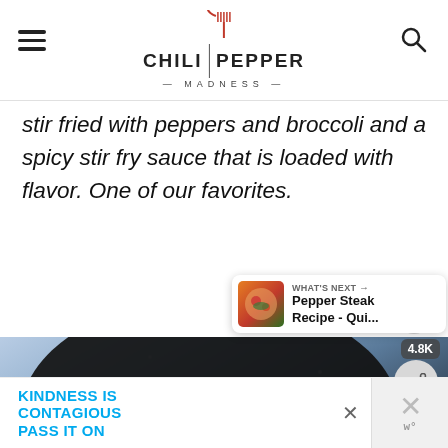CHILI | PEPPER MADNESS
stir fried with peppers and broccoli and a spicy stir fry sauce that is loaded with flavor. One of our favorites.
[Figure (photo): A dark wok/pan filled with stir-fried noodles, peppers, broccoli, and vegetables on a blue speckled background]
4.8K
WHAT'S NEXT → Pepper Steak Recipe - Qui...
KINDNESS IS CONTAGIOUS PASS IT ON